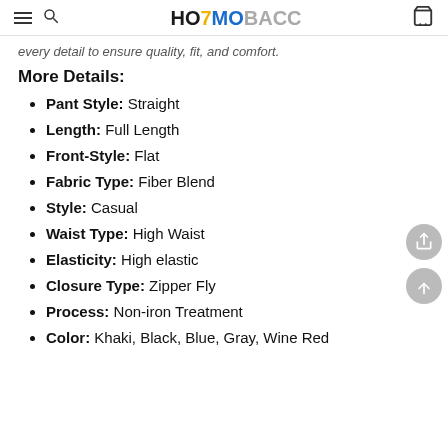HOTMOBACC
every detail to ensure quality, fit, and comfort.
More Details:
Pant Style: Straight
Length: Full Length
Front-Style: Flat
Fabric Type: Fiber Blend
Style: Casual
Waist Type: High Waist
Elasticity: High elastic
Closure Type: Zipper Fly
Process: Non-iron Treatment
Color: Khaki, Black, Blue, Gray, Wine Red